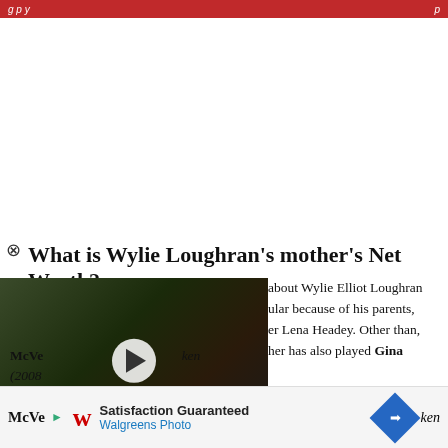[Figure (screenshot): Blank white advertisement area]
What is Wylie Loughran's mother's Net Worth?
[Figure (screenshot): Video player showing a man at an event. Caption reads: 'Jonah Hill To Stop Promoting Films / Due to Anxiety Attacks']
about Wylie Elliot Loughran ular because of his parents, er Lena Headey. Other than, her has also played Gina McVe… ken (2008…
[Figure (screenshot): Walgreens ad banner: Satisfaction Guaranteed, Walgreens Photo]